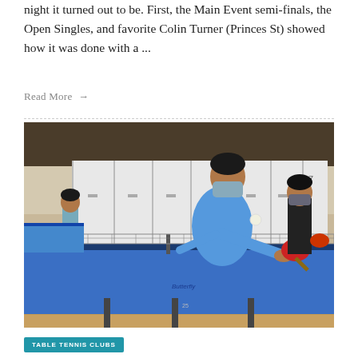night it turned out to be. First, the Main Event semi-finals, the Open Singles, and favorite Colin Turner (Princes St) showed how it was done with a ...
Read More →
[Figure (photo): A table tennis player wearing a blue shirt and face mask reaching over a blue Butterfly table to return a ball with a paddle, in an indoor sports hall with white lockers in the background. Another player in a black hoodie and mask stands watching in the background, and a third player is partially visible on the left.]
TABLE TENNIS CLUBS